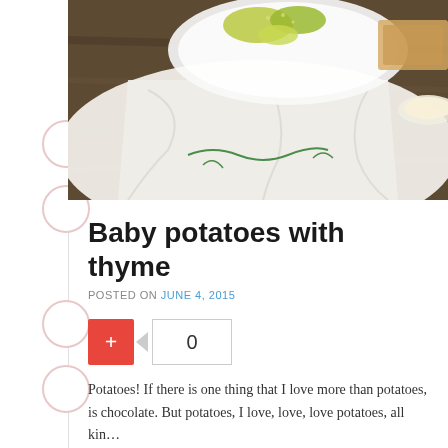[Figure (photo): Top-down food photograph showing a white plate with pickles/vegetables and white cloth napkin with green embroidery on a dark wooden surface]
Baby potatoes with thyme
POSTED ON JUNE 4, 2015
Potatoes! If there is one thing that I love more than potatoes, is chocolate. But potatoes, I love, love, love potatoes, all kin… baked, grilled, mashed! I can eat French fries … Continue re…
POSTED IN APPETIZERS & SNACKS, VEGETARIAN | TAGGED BABY PO… POTATOES, ROASTED POTATOES, SIDE DISH, THYME